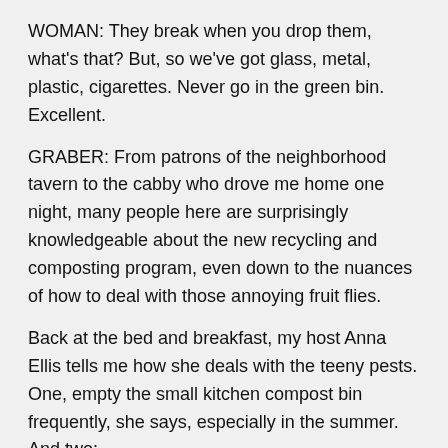WOMAN: They break when you drop them, what's that? But, so we've got glass, metal, plastic, cigarettes. Never go in the green bin. Excellent.
GRABER: From patrons of the neighborhood tavern to the cabby who drove me home one night, many people here are surprisingly knowledgeable about the new recycling and composting program, even down to the nuances of how to deal with those annoying fruit flies.
Back at the bed and breakfast, my host Anna Ellis tells me how she deals with the teeny pests. One, empty the small kitchen compost bin frequently, she says, especially in the summer. And two:
ELLIS: If you roll anything organic, food scraps and the like, in newspaper first, and then put it into the compost bin, this helps to cut down, as well.